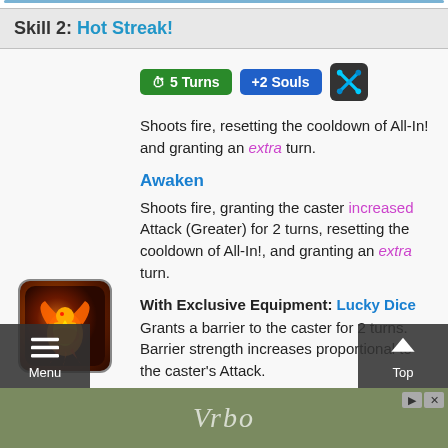Skill 2: Hot Streak!
[Figure (illustration): Fire phoenix skill icon — dark rounded square with orange/red flame bird image]
5 Turns   +2 Souls   [crossed swords icon]
Shoots fire, resetting the cooldown of All-In! and granting an extra turn.
Awaken
Shoots fire, granting the caster increased Attack (Greater) for 2 turns, resetting the cooldown of All-In!, and granting an extra turn.
With Exclusive Equipment: Lucky Dice
Grants a barrier to the caster for 2 turns. Barrier strength increases proportional to the caster's Attack.
Menu   Top